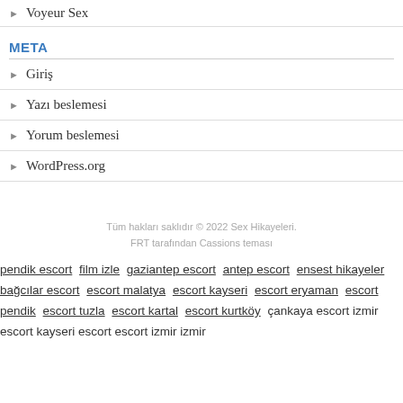Voyeur Sex
META
Giriş
Yazı beslemesi
Yorum beslemesi
WordPress.org
Tüm hakları saklıdır © 2022 Sex Hikayeleri.
FRT tarafından Cassions teması
pendik escort film izle gaziantep escort antep escort ensest hikayeler bağcılar escort escort malatya escort kayseri escort eryaman escort pendik escort tuzla escort kartal escort kurtköy çankaya escort izmir escort kayseri escort escort izmir izmir